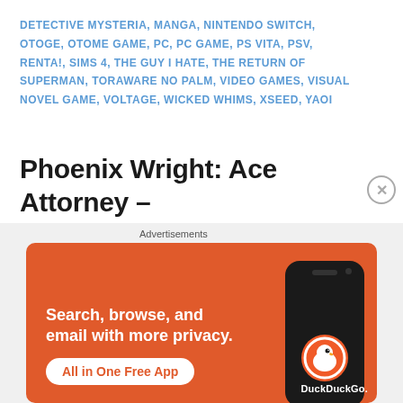DETECTIVE MYSTERIA, MANGA, NINTENDO SWITCH, OTOGE, OTOME GAME, PC, PC GAME, PS VITA, PSV, RENTA!, SIMS 4, THE GUY I HATE, THE RETURN OF SUPERMAN, TORAWARE NO PALM, VIDEO GAMES, VISUAL NOVEL GAME, VOLTAGE, WICKED WHIMS, XSEED, YAOI
Phoenix Wright: Ace Attorney – Spirit of Justice
PUBLISHED ON January 4, 2017
Leave a comment
[Figure (other): DuckDuckGo advertisement banner with orange background. Text reads 'Search, browse, and email with more privacy. All in One Free App' with a phone showing DuckDuckGo logo.]